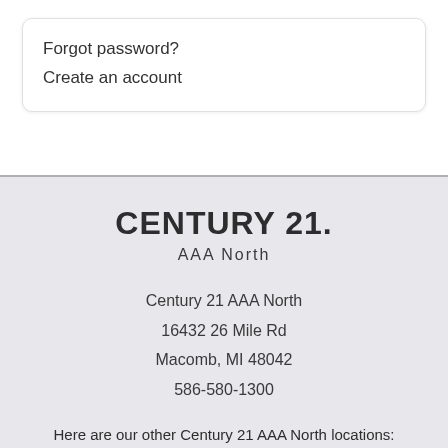Forgot password?
Create an account
CENTURY 21. AAA North
Century 21 AAA North
16432 26 Mile Rd
Macomb, MI 48042
586-580-1300
Here are our other Century 21 AAA North locations:
40682 Ryan Rd.